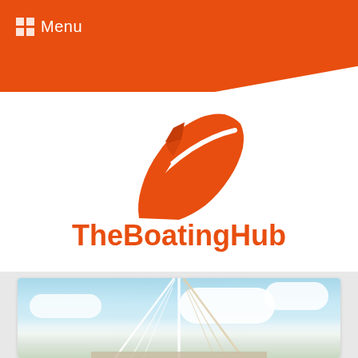Menu
[Figure (logo): TheBoatingHub logo: orange cruise ship bow silhouette above the text 'TheBoatingHub' in bold orange lettering]
[Figure (photo): Photo of a bridge with cable stays against a blue sky with white clouds, viewed from below looking up]